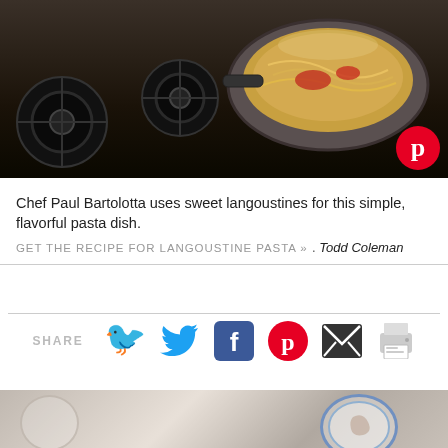[Figure (photo): A pan of pasta with langoustines cooking on a gas stove. A Pinterest badge is visible in the lower right corner of the photo.]
Chef Paul Bartolotta uses sweet langoustines for this simple, flavorful pasta dish.
GET THE RECIPE FOR LANGOUSTINE PASTA »  . Todd Coleman
[Figure (infographic): Social share bar with SHARE label and icons for Twitter, Facebook, Pinterest, Email, and Print]
[Figure (photo): Bottom portion of a food photo showing plates and langoustines]